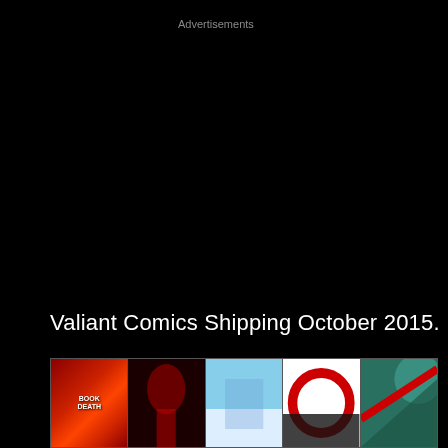Advertisements
Valiant Comics Shipping October 2015.
BOOK OF DEATH #4
[Figure (illustration): Five comic book covers displayed in a horizontal strip at the bottom of the page: (1) Book of Death red cover with title text, (2) dark cover with figure and red elements, (3) blue sky cover, (4) white cover with red circle/arc design, (5) teal geometric cover with red diagonal element.]